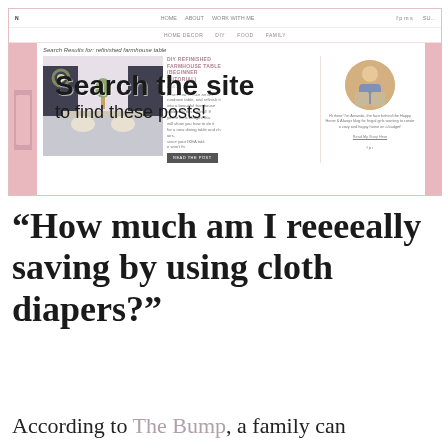[Figure (screenshot): Screenshot of a home decor/family blog website showing search results for 'refinished farmhouse table'. The page has a pink background, navigation menu with HOME DECOR, DIY, FOOD, FAMILY links. Shows a blog post image of a farmhouse dining room and post titled 'DIY REFINISHED FARMHOUSE TABLE (BEGINNER TUTORIAL)'. Overlaid text reads 'Search the site to find these posts!' A right sidebar shows a blogger's circular profile photo and bio text. Left and right strips are in dusty pink/mauve color.]
"How much am I reeeeally saving by using cloth diapers?"
According to The Bump, a family can